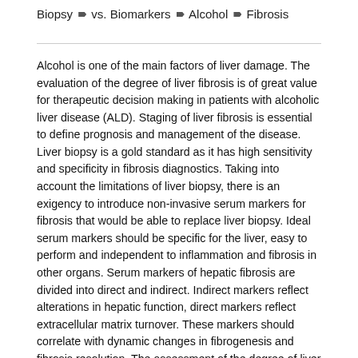Biopsy ▶ vs. Biomarkers ▶ Alcohol ▶ Fibrosis
Alcohol is one of the main factors of liver damage. The evaluation of the degree of liver fibrosis is of great value for therapeutic decision making in patients with alcoholic liver disease (ALD). Staging of liver fibrosis is essential to define prognosis and management of the disease. Liver biopsy is a gold standard as it has high sensitivity and specificity in fibrosis diagnostics. Taking into account the limitations of liver biopsy, there is an exigency to introduce non-invasive serum markers for fibrosis that would be able to replace liver biopsy. Ideal serum markers should be specific for the liver, easy to perform and independent to inflammation and fibrosis in other organs. Serum markers of hepatic fibrosis are divided into direct and indirect. Indirect markers reflect alterations in hepatic function, direct markers reflect extracellular matrix turnover. These markers should correlate with dynamic changes in fibrogenesis and fibrosis resolution. The assessment of the degree of liver fibrosis in alcoholic liver disease has diagnostic and prognostic implications, therefore noninvasive assessment of fibrosis remains important. There are only a few studies evaluating the diagnostic and